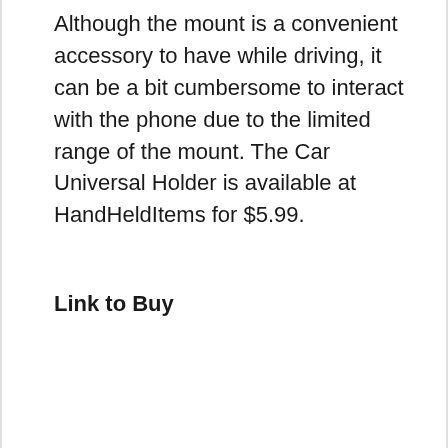Although the mount is a convenient accessory to have while driving, it can be a bit cumbersome to interact with the phone due to the limited range of the mount. The Car Universal Holder is available at HandHeldItems for $5.99.
Link to Buy